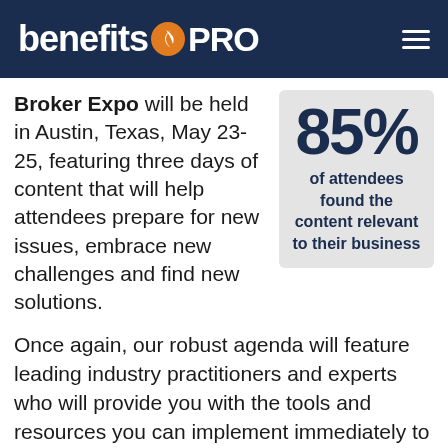BenefitsPRO
Broker Expo will be held in Austin, Texas, May 23-25, featuring three days of content that will help attendees prepare for new issues, embrace new challenges and find new solutions.
[Figure (infographic): Stat box showing 85% of attendees found the content relevant to their business]
Once again, our robust agenda will feature leading industry practitioners and experts who will provide you with the tools and resources you can implement immediately to better serve your employer clients and improve your practice.